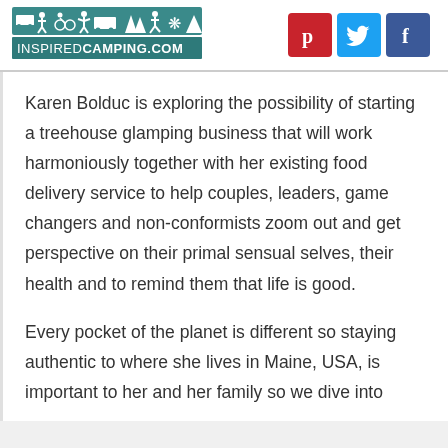[Figure (logo): InspiredCamping.com logo with outdoor activity silhouettes and teal banner]
[Figure (infographic): Pinterest, Twitter, and Facebook social media icons]
Karen Bolduc is exploring the possibility of starting a treehouse glamping business that will work harmoniously together with her existing food delivery service to help couples, leaders, game changers and non-conformists zoom out and get perspective on their primal sensual selves, their health and to remind them that life is good.
Every pocket of the planet is different so staying authentic to where she lives in Maine, USA, is important to her and her family so we dive into